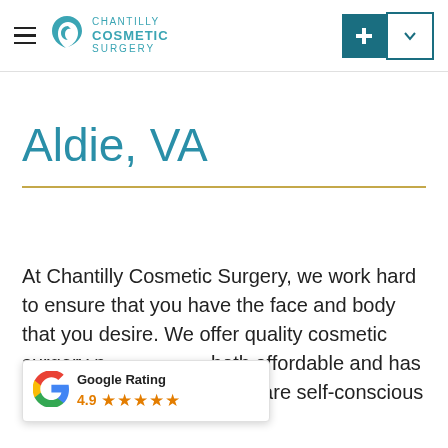Chantilly Cosmetic Surgery — navigation header
Aldie, VA
At Chantilly Cosmetic Surgery, we work hard to ensure that you have the face and body that you desire. We offer quality cosmetic surgery n… both affordable and has great results. Whether you are self-conscious
[Figure (logo): Google Rating widget showing 4.9 stars with five orange stars and Google 'G' logo]